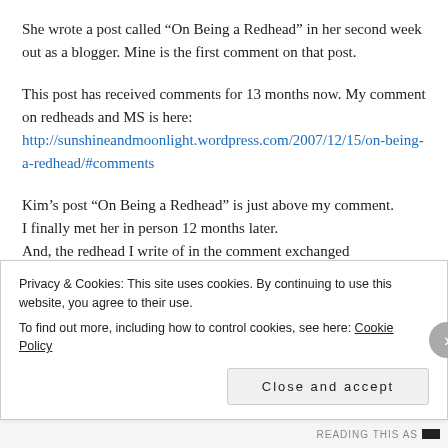She wrote a post called “On Being a Redhead” in her second week out as a blogger. Mine is the first comment on that post.
This post has received comments for 13 months now. My comment on redheads and MS is here: http://sunshineandmoonlight.wordpress.com/2007/12/15/on-being-a-redhead/#comments
Kim’s post “On Being a Redhead” is just above my comment. I finally met her in person 12 months later.
And, the redhead I write of in the comment exchanged emails with me from the midwest....today!
Privacy & Cookies: This site uses cookies. By continuing to use this website, you agree to their use.
To find out more, including how to control cookies, see here: Cookie Policy
Close and accept